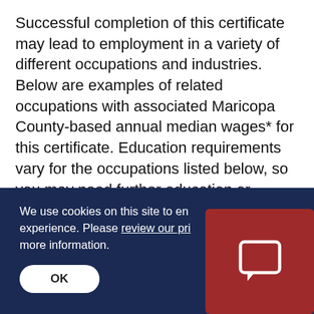Successful completion of this certificate may lead to employment in a variety of different occupations and industries. Below are examples of related occupations with associated Maricopa County-based annual median wages* for this certificate. Education requirements vary for the occupations listed below, so you may need further education or degrees in order to qualify for some of these jobs and earn the related salaries. Please visit with an academic advisor and/or program director
We use cookies on this site to en[hance your] experience. Please review our pri[vacy policy] for more information.
OK